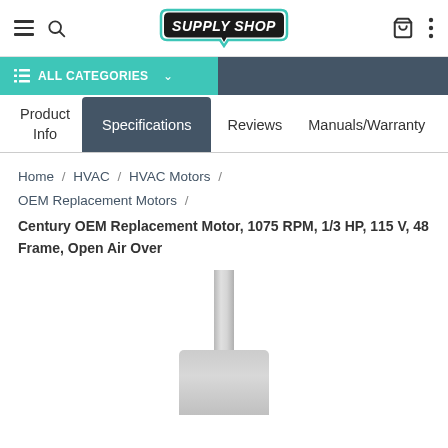Supply Shop — navigation header with hamburger menu, search, logo, cart, and more icons
ALL CATEGORIES
Product Info | Specifications | Reviews | Manuals/Warranty
Home / HVAC / HVAC Motors / OEM Replacement Motors /
Century OEM Replacement Motor, 1075 RPM, 1/3 HP, 115 V, 48 Frame, Open Air Over
[Figure (photo): Product image of a motor shaft/spindle, partially visible at the bottom of the page, silver/gray colored cylindrical shaft protruding upward]